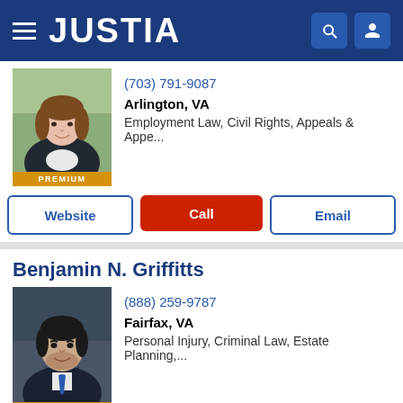JUSTIA
[Figure (photo): Female attorney headshot with PREMIUM badge]
(703) 791-9087
Arlington, VA
Employment Law, Civil Rights, Appeals & Appe...
Website | Call | Email
Benjamin N. Griffitts
[Figure (photo): Male attorney headshot with PREMIUM badge]
(888) 259-9787
Fairfax, VA
Personal Injury, Criminal Law, Estate Planning,...
Website | Call | Email
Faraji A. Rosenthall